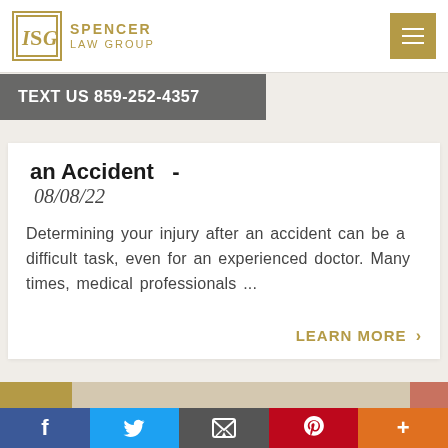[Figure (logo): Spencer Law Group logo with LSG monogram in gold box and gold text]
TEXT US 859-252-4357
an Accident - 08/08/22
Determining your injury after an accident can be a difficult task, even for an experienced doctor. Many times, medical professionals ...
LEARN MORE >
[Figure (screenshot): Partial bottom image strip visible at bottom of page]
f  (twitter)  (email)  p  +